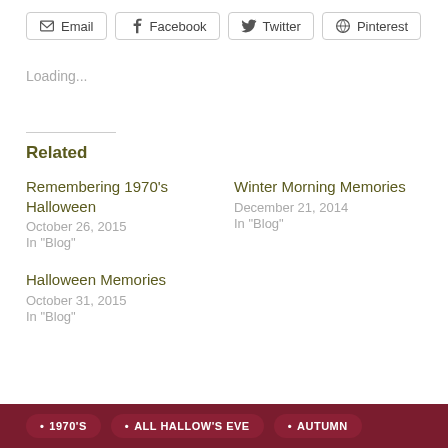Email
Facebook
Twitter
Pinterest
Loading...
Related
Remembering 1970's Halloween
October 26, 2015
In "Blog"
Winter Morning Memories
December 21, 2014
In "Blog"
Halloween Memories
October 31, 2015
In "Blog"
1970'S   ALL HALLOW'S EVE   AUTUMN